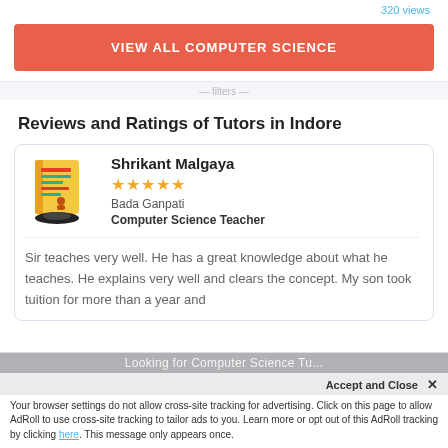320 views
VIEW ALL COMPUTER SCIENCE
Reviews and Ratings of Tutors in Indore
Shrikant Malgaya
★★★★★
Bada Ganpati
Computer Science Teacher
Sir teaches very well. He has a great knowledge about what he teaches. He explains very well and clears the concept. My son took tuition for more than a year and
Looking for Computer Science Tu...
Accept and Close ✕
Your browser settings do not allow cross-site tracking for advertising. Click on this page to allow AdRoll to use cross-site tracking to tailor ads to you. Learn more or opt out of this AdRoll tracking by clicking here. This message only appears once.